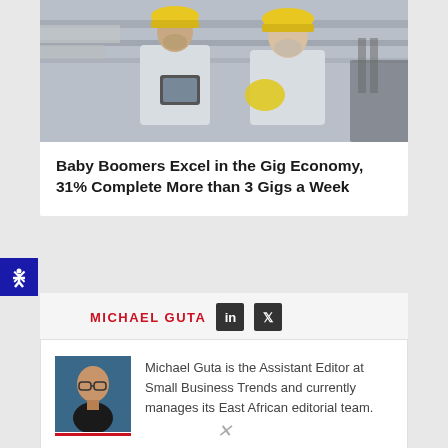[Figure (photo): Two workers in white uniforms and yellow hard hats reviewing a tablet in a warehouse/industrial setting]
Baby Boomers Excel in the Gig Economy, 31% Complete More than 3 Gigs a Week
MICHAEL GUTA
Michael Guta is the Assistant Editor at Small Business Trends and currently manages its East African editorial team.